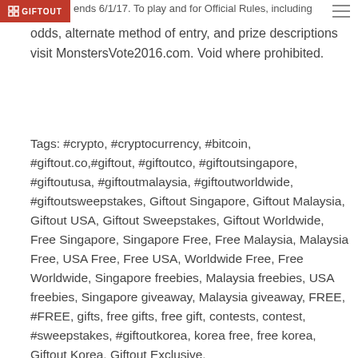GIFTOUT
ends 6/1/17. To play and for Official Rules, including odds, alternate method of entry, and prize descriptions visit MonstersVote2016.com. Void where prohibited.
Tags: #crypto, #cryptocurrency, #bitcoin, #giftout.co,#giftout, #giftoutco, #giftoutsingapore, #giftoutusa, #giftoutmalaysia, #giftoutworldwide, #giftoutsweepstakes, Giftout Singapore, Giftout Malaysia, Giftout USA, Giftout Sweepstakes, Giftout Worldwide, Free Singapore, Singapore Free, Free Malaysia, Malaysia Free, USA Free, Free USA, Worldwide Free, Free Worldwide, Singapore freebies, Malaysia freebies, USA freebies, Singapore giveaway, Malaysia giveaway, FREE, #FREE, gifts, free gifts, free gift, contests, contest, #sweepstakes, #giftoutkorea, korea free, free korea, Giftout Korea, Giftout Exclusive, #giftoutkorea, freebies #Singapore, #Malaysia